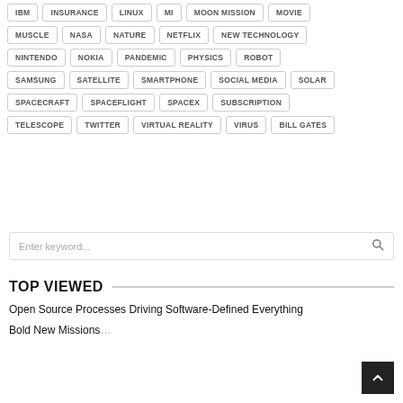IBM
INSURANCE
LINUX
MI
MOON MISSION
MOVIE
MUSCLE
NASA
NATURE
NETFLIX
NEW TECHNOLOGY
NINTENDO
NOKIA
PANDEMIC
PHYSICS
ROBOT
SAMSUNG
SATELLITE
SMARTPHONE
SOCIAL MEDIA
SOLAR
SPACECRAFT
SPACEFLIGHT
SPACEX
SUBSCRIPTION
TELESCOPE
TWITTER
VIRTUAL REALITY
VIRUS
BILL GATES
TOP VIEWED
Open Source Processes Driving Software-Defined Everything
Bold New Missions...